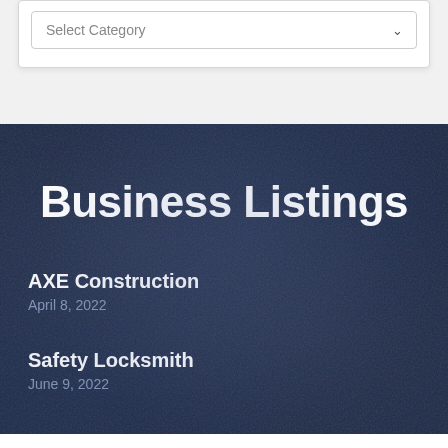Select Category
Business Listings
AXE Construction
April 8, 2022
Safety Locksmith
June 9, 2022